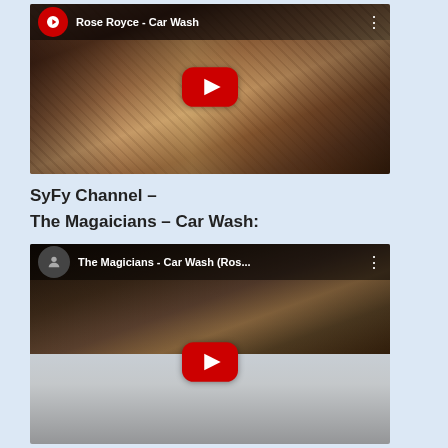[Figure (screenshot): YouTube video thumbnail for 'Rose Royce - Car Wash' showing a group of people in a black and white style photo with a red YouTube play button overlay and video title bar at top]
SyFy Channel –
The Magaicians – Car Wash:
[Figure (screenshot): YouTube video thumbnail for 'The Magicians - Car Wash (Ros...' showing people in a dark scene with a red YouTube play button overlay and video title bar at top]